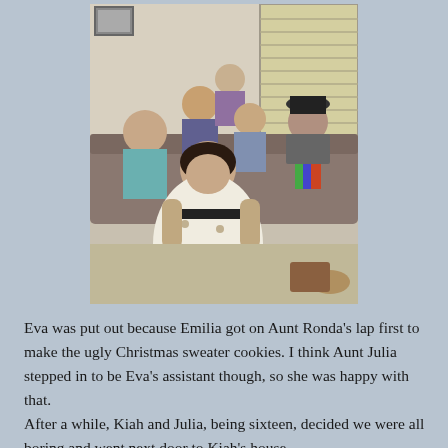[Figure (photo): Group of people sitting in a living room. A woman in a floral dress sits in the foreground on someone's lap, appearing to work on something. A person in a dark hat and colorful scarf sits on the right. Several other people including children are visible in the background on a couch near a window with blinds.]
Eva was put out because Emilia got on Aunt Ronda's lap first to make the ugly Christmas sweater cookies. I think Aunt Julia stepped in to be Eva's assistant though, so she was happy with that.
After a while, Kiah and Julia, being sixteen, decided we were all boring and went next door to Kiah's house.